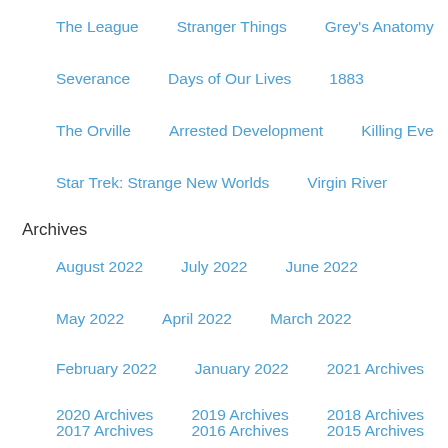The League
Stranger Things
Grey's Anatomy
Severance
Days of Our Lives
1883
The Orville
Arrested Development
Killing Eve
Star Trek: Strange New Worlds
Virgin River
Archives
August 2022
July 2022
June 2022
May 2022
April 2022
March 2022
February 2022
January 2022
2021 Archives
2020 Archives
2019 Archives
2018 Archives
2017 Archives
2016 Archives
2015 Archives
2014 Archives
2013 Archives
2012 Archives